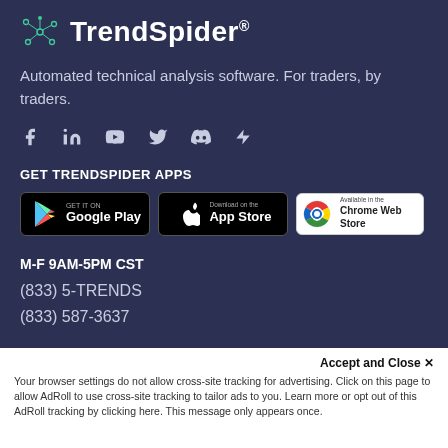[Figure (logo): TrendSpider logo with spider-web node icon in teal/green and bold white text reading TrendSpider with registered trademark symbol]
Automated technical analysis software. For traders, by traders.
[Figure (infographic): Social media icons: Facebook, LinkedIn, YouTube, Twitter, Discord, and a lightning/chevron icon]
GET TRENDSPIDER APPS
[Figure (screenshot): Three app store badges: Google Play, App Store, and Chrome Web Store]
M-F 9AM-5PM CST
(833) 5-TRENDS
(833) 587-3637
Accept and Close ✕
Your browser settings do not allow cross-site tracking for advertising. Click on this page to allow AdRoll to use cross-site tracking to tailor ads to you. Learn more or opt out of this AdRoll tracking by clicking here. This message only appears once.